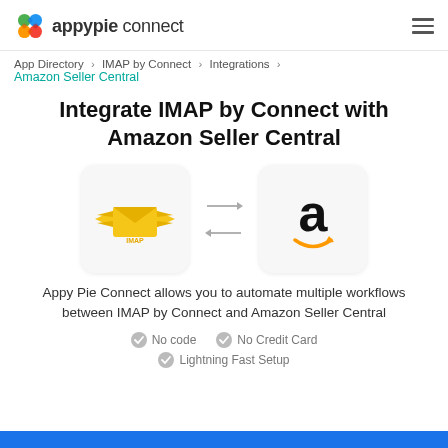appypie connect
App Directory > IMAP by Connect > Integrations > Amazon Seller Central
Integrate IMAP by Connect with Amazon Seller Central
[Figure (logo): IMAP by Connect logo (yellow envelope with wings) and Amazon Seller Central logo (black letter 'a' with orange smile arrow), connected by bidirectional arrows]
Appy Pie Connect allows you to automate multiple workflows between IMAP by Connect and Amazon Seller Central
No code  No Credit Card  Lightning Fast Setup